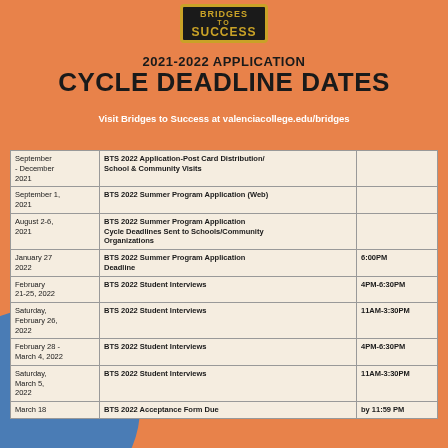[Figure (logo): Bridges to Success logo in black box with gold border]
2021-2022 APPLICATION CYCLE DEADLINE DATES
Visit Bridges to Success at valenciacollege.edu/bridges
| Date | Event | Time |
| --- | --- | --- |
| September - December 2021 | BTS 2022 Application-Post Card Distribution/ School & Community Visits |  |
| September 1, 2021 | BTS 2022 Summer Program Application (Web) |  |
| August 2-6, 2021 | BTS 2022 Summer Program Application Cycle Deadlines Sent to Schools/Community Organizations |  |
| January 27 2022 | BTS 2022 Summer Program Application Deadline | 6:00PM |
| February 21-25, 2022 | BTS 2022 Student Interviews | 4PM-6:30PM |
| Saturday, February 26, 2022 | BTS 2022 Student Interviews | 11AM-3:30PM |
| February 28 - March 4, 2022 | BTS 2022 Student Interviews | 4PM-6:30PM |
| Saturday, March 5, 2022 | BTS 2022 Student Interviews | 11AM-3:30PM |
| March 18 | BTS 2022 Acceptance Form Due | by 11:59 PM |